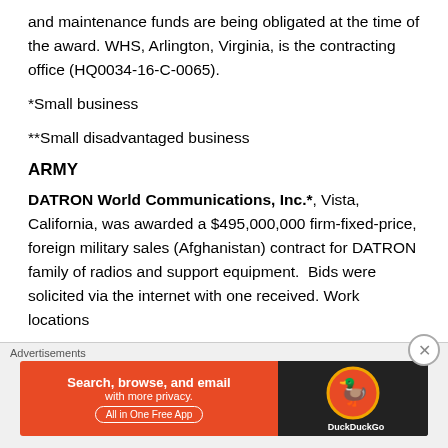and maintenance funds are being obligated at the time of the award. WHS, Arlington, Virginia, is the contracting office (HQ0034-16-C-0065).
*Small business
**Small disadvantaged business
ARMY
DATRON World Communications, Inc.*, Vista, California, was awarded a $495,000,000 firm-fixed-price, foreign military sales (Afghanistan) contract for DATRON family of radios and support equipment. Bids were solicited via the internet with one received. Work locations